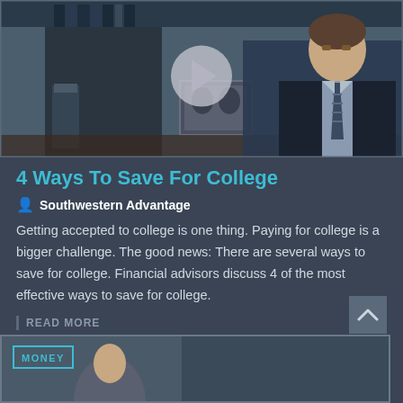[Figure (screenshot): Video thumbnail showing a man in a suit and tie sitting at a desk with bookshelves in background, with a play button overlay in the center]
4 Ways To Save For College
Southwestern Advantage
Getting accepted to college is one thing. Paying for college is a bigger challenge. The good news: There are several ways to save for college. Financial advisors discuss 4 of the most effective ways to save for college.
READ MORE
[Figure (screenshot): Bottom video thumbnail with MONEY tag label visible, partially shown]